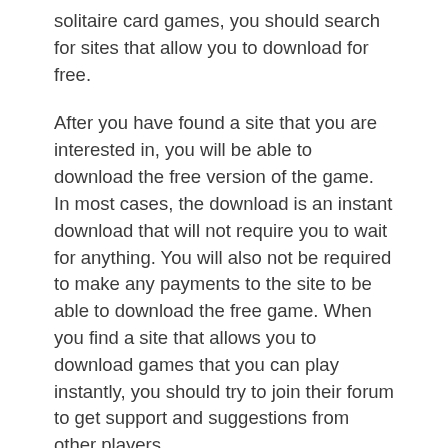solitaire card games, you should search for sites that allow you to download for free.
After you have found a site that you are interested in, you will be able to download the free version of the game. In most cases, the download is an instant download that will not require you to wait for anything. You will also not be required to make any payments to the site to be able to download the free game. When you find a site that allows you to download games that you can play instantly, you should try to join their forum to get support and suggestions from other players.
In addition, you will find that there are sites that allow you to download free solitaire card games. You will not have to worry about any fees since you can download games for free, so it is always best to go with sites that have a free version that does not require a download. Also, they will provide you with the download link so that